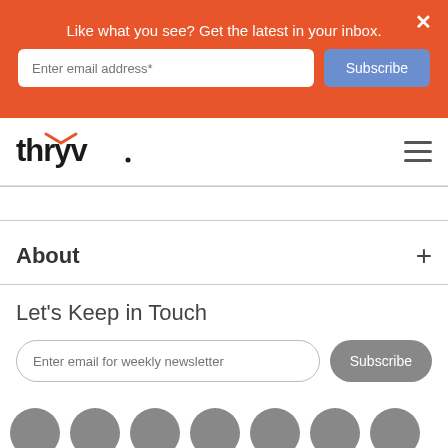Like what you see? Get the latest in your inbox.
Enter email address*
Subscribe
[Figure (logo): Thryv logo with orange arrow accent]
About
Let's Keep in Touch
Enter email for weekly newsletter
Subscribe